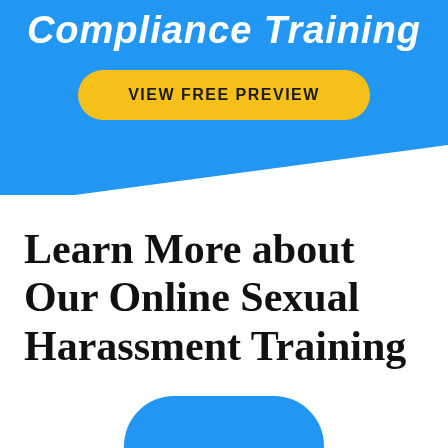Compliance Training
[Figure (other): Yellow rounded button with text VIEW FREE PREVIEW on blue background]
Learn More about Our Online Sexual Harassment Training
[Figure (other): Blue rounded button partially visible at bottom of page]